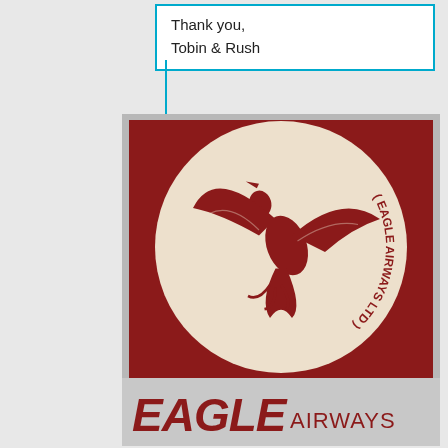Thank you,
Tobin & Rush
[Figure (logo): Eagle Airways Ltd circular logo with eagle illustration in dark red on cream background, with text '(EAGLE AIRWAYS LTD)' around the bottom of the circle]
[Figure (logo): Eagle Airways wordmark logo with 'EAGLE' in bold italic dark red serif font and 'AIRWAYS' in regular dark red sans-serif on grey background]